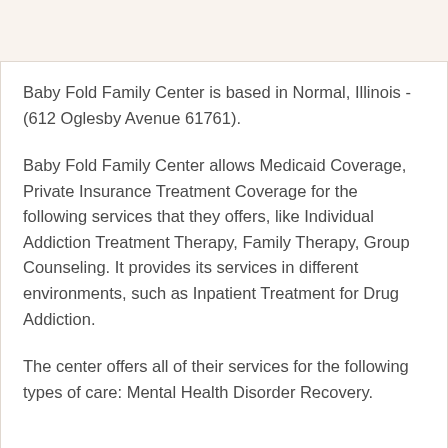Baby Fold Family Center is based in Normal, Illinois - (612 Oglesby Avenue 61761).
Baby Fold Family Center allows Medicaid Coverage, Private Insurance Treatment Coverage for the following services that they offers, like Individual Addiction Treatment Therapy, Family Therapy, Group Counseling. It provides its services in different environments, such as Inpatient Treatment for Drug Addiction.
The center offers all of their services for the following types of care: Mental Health Disorder Recovery.